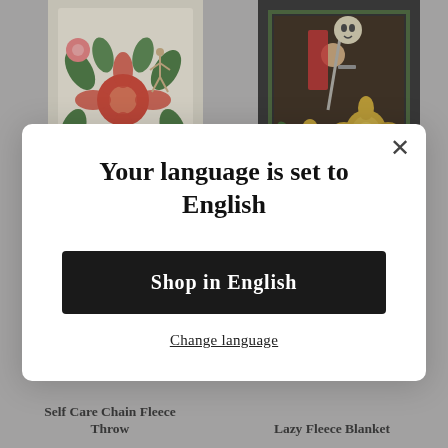[Figure (photo): Tattoo flash art on cream/beige fabric, featuring pin-up figures, flowers, and botanical designs in red, green, and orange colors]
[Figure (photo): Tattoo flash art on black fabric/backpack, featuring roses in yellow/gold and a figure holding a sword or dagger with red elements]
Your language is set to English
Shop in English
Change language
Self Care Chain Fleece Throw
Lazy Fleece Blanket